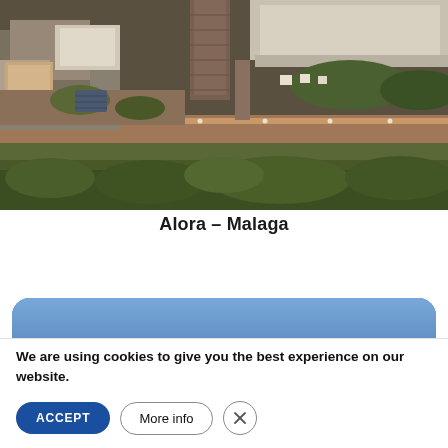[Figure (photo): Aerial photograph of Alora, Malaga, Spain, showing historic stone castle ruins with a tall brick tower, white-walled buildings with terracotta roofs, a long reddish-brown wall path, and surrounding green vegetation viewed from above.]
Alora – Malaga
[Figure (screenshot): Partially visible blue rounded card/panel below the caption area, showing the top portion of a sky-background image card.]
We are using cookies to give you the best experience on our website.